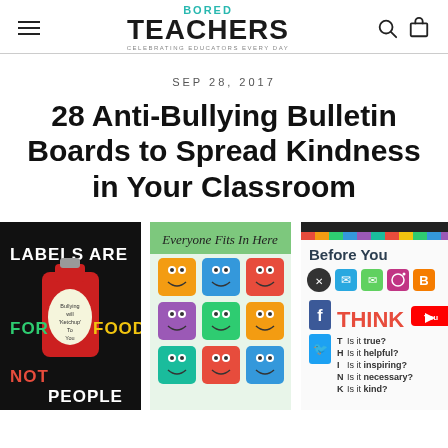Bored Teachers — CELEBRATING EDUCATORS EVERY DAY
SEP 28, 2017
28 Anti-Bullying Bulletin Boards to Spread Kindness in Your Classroom
[Figure (photo): Three bulletin board images: 1) Black background with ketchup bottle — LABELS ARE FOR FOOD NOT PEOPLE; 2) Colorful puzzle pieces with smiling faces — Everyone Fits In Here; 3) Social media icons with THINK acronym — Before You Post, Is it true? helpful? inspiring? necessary? kind?]